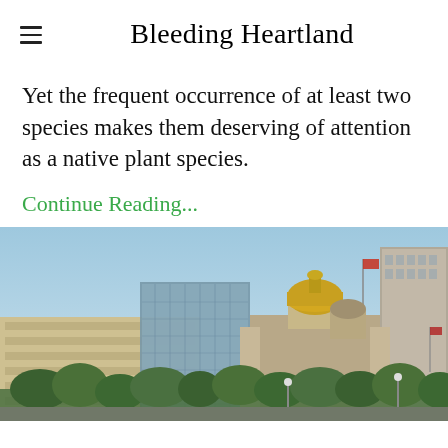Bleeding Heartland
Yet the frequent occurrence of at least two species makes them deserving of attention as a native plant species.
Continue Reading...
[Figure (photo): Cityscape photo showing buildings including a structure with a gold dome (Iowa State Capitol), modern glass buildings, and trees under a clear blue sky.]